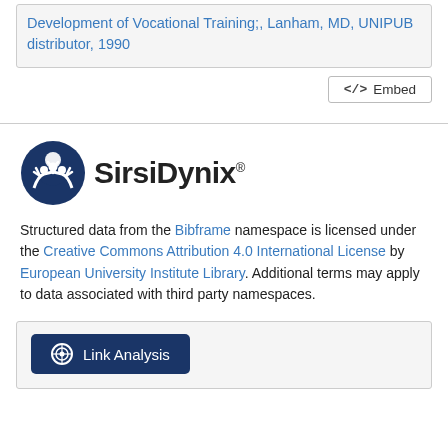Development of Vocational Training;, Lanham, MD, UNIPUB distributor, 1990
[Figure (screenshot): Embed button with code icon]
[Figure (logo): SirsiDynix logo with circular emblem and company name]
Structured data from the Bibframe namespace is licensed under the Creative Commons Attribution 4.0 International License by European University Institute Library. Additional terms may apply to data associated with third party namespaces.
[Figure (screenshot): Link Analysis button]